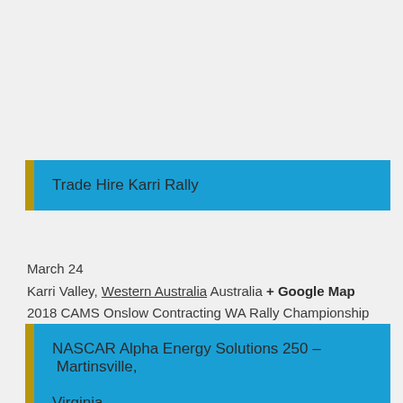Trade Hire Karri Rally
March 24
Karri Valley, Western Australia Australia + Google Map
2018 CAMS Onslow Contracting WA Rally Championship Round 1 – WARC, WA 2WD, Clubman Masters & Cup
Find out more »
NASCAR Alpha Energy Solutions 250 – Martinsville, Virginia